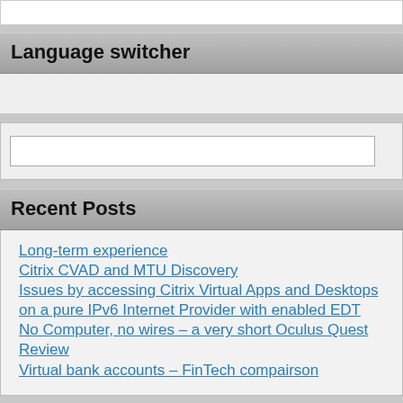Language switcher
Recent Posts
Long-term experience
Citrix CVAD and MTU Discovery
Issues by accessing Citrix Virtual Apps and Desktops on a pure IPv6 Internet Provider with enabled EDT
No Computer, no wires – a very short Oculus Quest Review
Virtual bank accounts – FinTech compairson
Popular